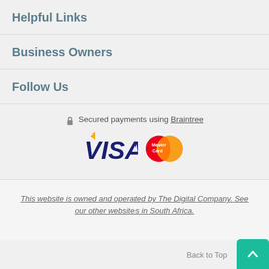Helpful Links
Business Owners
Follow Us
[Figure (logo): Lock icon, Visa logo, and MasterCard logo with text 'Secured payments using Braintree']
This website is owned and operated by The Digital Company. See our other websites in South Africa.
[Figure (logo): The Digital Company logo - 'thedigital company.' in gray and blue text]
Back to Top